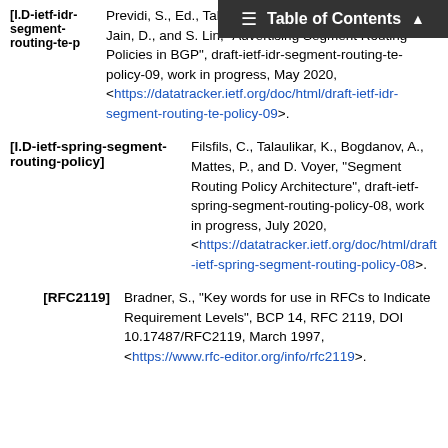[I.D-ietf-idr-segment-routing-te-policy]  Previdi, S., Ed., Talaulikar, K., Mattes, P., Rosen, E., Jain, D., and S. Lin, "Advertising Segment Routing Policies in BGP", draft-ietf-idr-segment-routing-te-policy-09, work in progress, May 2020, <https://datatracker.ietf.org/doc/html/draft-ietf-idr-segment-routing-te-policy-09>.
[I.D-ietf-spring-segment-routing-policy]  Filsfils, C., Talaulikar, K., Bogdanov, A., Mattes, P., and D. Voyer, "Segment Routing Policy Architecture", draft-ietf-spring-segment-routing-policy-08, work in progress, July 2020, <https://datatracker.ietf.org/doc/html/draft-ietf-spring-segment-routing-policy-08>.
[RFC2119]  Bradner, S., "Key words for use in RFCs to Indicate Requirement Levels", BCP 14, RFC 2119, DOI 10.17487/RFC2119, March 1997, <https://www.rfc-editor.org/info/rfc2119>.